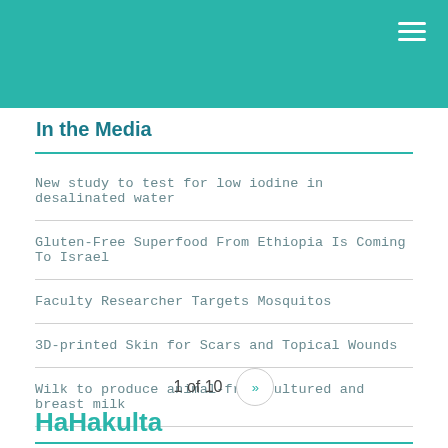In the Media
New study to test for low iodine in desalinated water
Gluten-Free Superfood From Ethiopia Is Coming To Israel
Faculty Researcher Targets Mosquitos
3D-printed Skin for Scars and Topical Wounds
Wilk to produce animal-free cultured and breast milk
1 of 10  »
HaHakulta